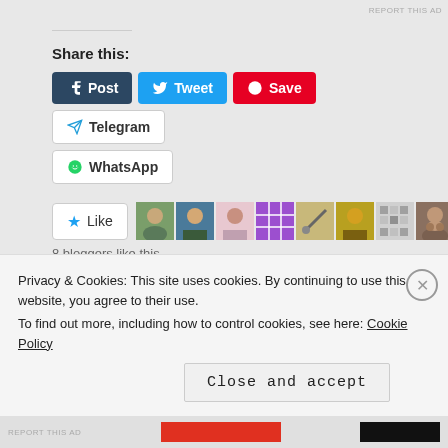REPORT THIS AD
Share this:
Post  Tweet  Save  Telegram
WhatsApp
Like
8 bloggers like this.
Related
[Figure (photo): Two related article thumbnail images: LDR: Do. Or do not. There is no try. and LDR Advice handwritten text on paper]
Privacy & Cookies: This site uses cookies. By continuing to use this website, you agree to their use.
To find out more, including how to control cookies, see here: Cookie Policy
Close and accept
REPORT THIS AD